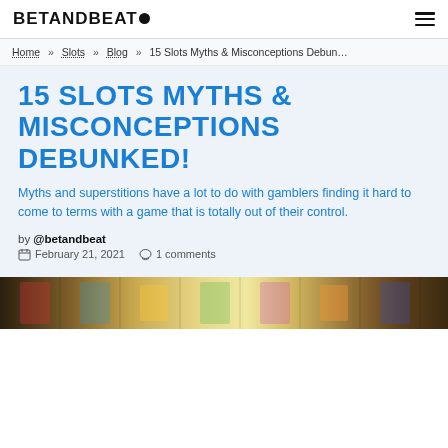BETANDBEAT
Home » Slots » Blog » 15 Slots Myths & Misconceptions Debunked!
15 SLOTS MYTHS & MISCONCEPTIONS DEBUNKED!
Myths and superstitions have a lot to do with gamblers finding it hard to come to terms with a game that is totally out of their control.
by @betandbeat
February 21, 2021   1 comments
[Figure (photo): Partial photo of slot machine reels showing colorful symbols]